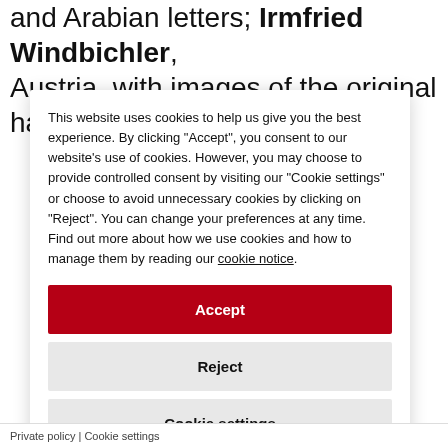and Arabian letters; Irmfried Windbichler, Austria, with images of the original handwriting
This website uses cookies to help us give you the best experience. By clicking "Accept", you consent to our website's use of cookies. However, you may choose to provide controlled consent by visiting our "Cookie settings" or choose to avoid unnecessary cookies by clicking on "Reject". You can change your preferences at any time. Find out more about how we use cookies and how to manage them by reading our cookie notice.
Accept
Reject
Cookie settings
Private policy | Cookie settings